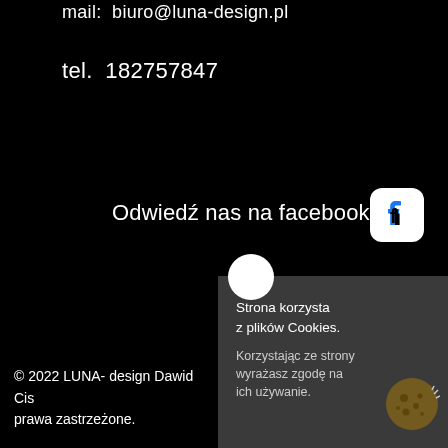mail:  biuro@luna-design.pl
tel.  182757847
Odwiedź nas na facebooku
[Figure (logo): Facebook logo icon — white rounded square with Facebook 'f' symbol]
[Figure (illustration): Cookie consent popup overlay with cookie icon illustration]
© 2022 LUNA- design Dawid Cis prawa zastrzeżone.